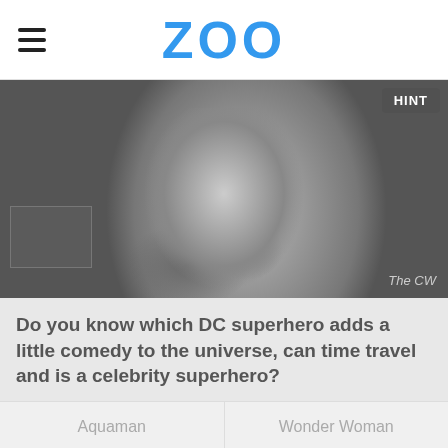ZOO
[Figure (photo): Grayscale photo of a male actor in a DC superhero costume (armored suit with star emblem), looking upward, with 'The CW' watermark in bottom right and a 'HINT' button overlay in top right corner.]
Do you know which DC superhero adds a little comedy to the universe, can time travel and is a celebrity superhero?
Aquaman
Wonder Woman